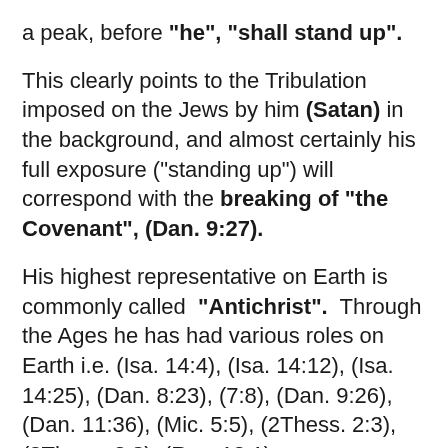a peak, before "he", "shall stand up".
This clearly points to the Tribulation imposed on the Jews by him (Satan) in the background, and almost certainly his full exposure ("standing up") will correspond with the breaking of "the Covenant", (Dan. 9:27).
His highest representative on Earth is commonly called “Antichrist”. Through the Ages he has had various roles on Earth i.e. (Isa. 14:4), (Isa. 14:12), (Isa. 14:25), (Dan. 8:23), (7:8), (Dan. 9:26), (Dan. 11:36), (Mic. 5:5), (2Thess. 2:3), (2Thess. 2:8), (Rev. 13:1)